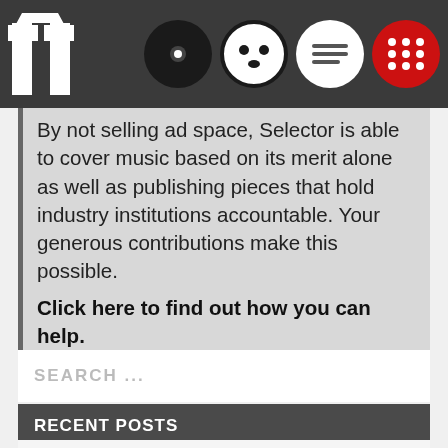[Figure (screenshot): Navigation bar with logo (two white columns/pillars icon on dark background), a vinyl record icon (black circle with white center dot), a face/smiley icon (white circle with dark face), a chat/message icon (white circle with lines), and a red grid/apps icon]
By not selling ad space, Selector is able to cover music based on its merit alone as well as publishing pieces that hold industry institutions accountable. Your generous contributions make this possible. Click here to find out how you can help.
SEARCH ...
RECENT POSTS
AVA Festival Announces New AVA Connections